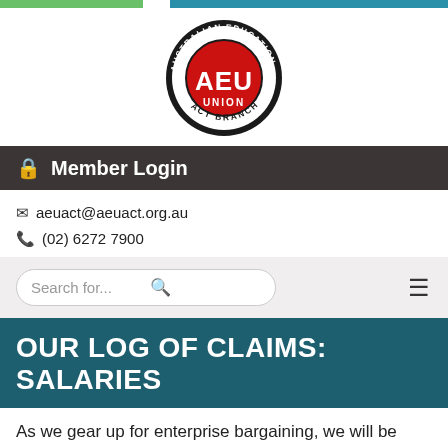[Figure (logo): AEU Australian Education Union ACT Branch circular logo with red center and black border]
Member Login
aeuact@aeuact.org.au
(02) 6272 7900
OUR LOG OF CLAIMS: SALARIES
As we gear up for enterprise bargaining, we will be taking a closer look at some of the items in our log of claims for the school teaching staff agreement and why they matter. First up is salaries. Teachers' salaries must maintain